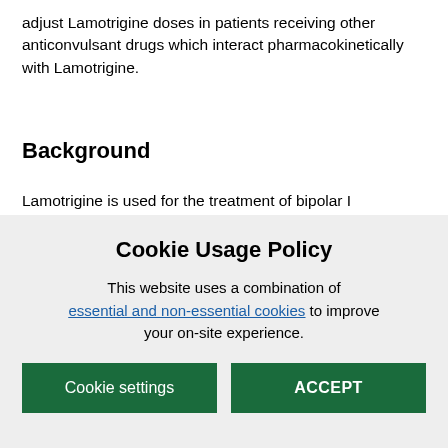adjust Lamotrigine doses in patients receiving other anticonvulsant drugs which interact pharmacokinetically with Lamotrigine.
Background
Lamotrigine is used for the treatment of bipolar I
Cookie Usage Policy
This website uses a combination of essential and non-essential cookies to improve your on-site experience.
Cookie settings | ACCEPT